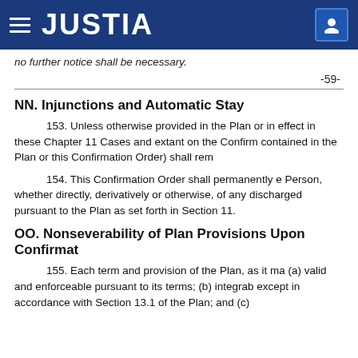JUSTIA
no further notice shall be necessary.
-59-
NN. Injunctions and Automatic Stay
153. Unless otherwise provided in the Plan or in effect in these Chapter 11 Cases and extant on the Confirm contained in the Plan or this Confirmation Order) shall rem
154. This Confirmation Order shall permanently e Person, whether directly, derivatively or otherwise, of any discharged pursuant to the Plan as set forth in Section 11.
OO. Nonseverability of Plan Provisions Upon Confirmat
155. Each term and provision of the Plan, as it ma (a) valid and enforceable pursuant to its terms; (b) integrab except in accordance with Section 13.1 of the Plan; and (c)